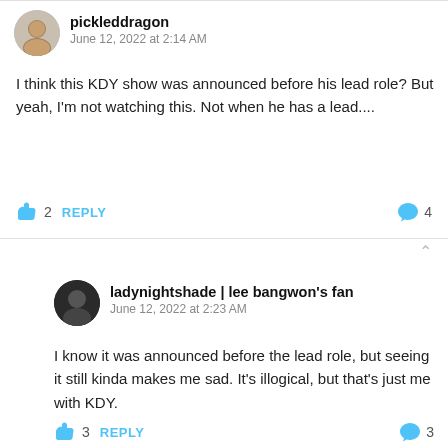[Figure (other): User avatar for pickleddragon - circular profile photo of a person]
pickleddragon
June 12, 2022 at 2:14 AM
I think this KDY show was announced before his lead role? But yeah, I'm not watching this. Not when he has a lead....
👍 2   REPLY                                                          💬 4
[Figure (other): User avatar for ladynightshade - circular dark profile photo]
ladynightshade | lee bangwon's fan
June 12, 2022 at 2:23 AM
I know it was announced before the lead role, but seeing it still kinda makes me sad. It's illogical, but that's just me with KDY.
👍 3   REPLY                                                          💬 3